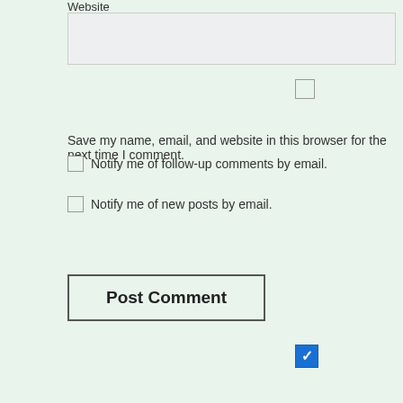Website
[Figure (screenshot): Website text input field with light gray background]
[Figure (screenshot): Unchecked checkbox (empty, gray border)]
Save my name, email, and website in this browser for the next time I comment.
Notify me of follow-up comments by email.
Notify me of new posts by email.
Post Comment
[Figure (screenshot): Checked checkbox with blue background and white checkmark]
[Figure (logo): CommentLuv logo with red phoenix/eagle wings and COMMENTLUV text where LUV is in red]